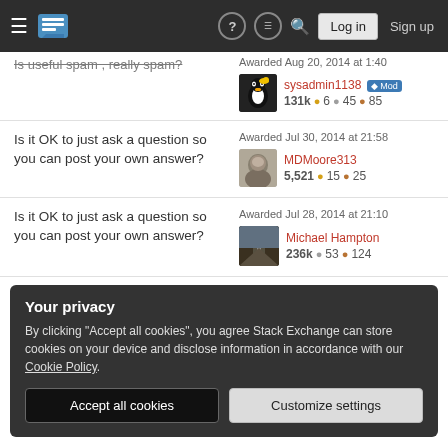Stack Exchange navigation bar with logo, help, chat, search, Log in, Sign up
Is useful spam , really spam?   Awarded Aug 20, 2014 at 1:40
sysadmin1138 Mod  131k  6  45  85
Is it OK to just ask a question so you can post your own answer?   Awarded Jul 30, 2014 at 21:58
MDMoore313  5,521  15  25
Is it OK to just ask a question so you can post your own answer?   Awarded Jul 28, 2014 at 21:10
Michael Hampton  236k  53  124
Your privacy
By clicking "Accept all cookies", you agree Stack Exchange can store cookies on your device and disclose information in accordance with our Cookie Policy.
114k  4  53  127